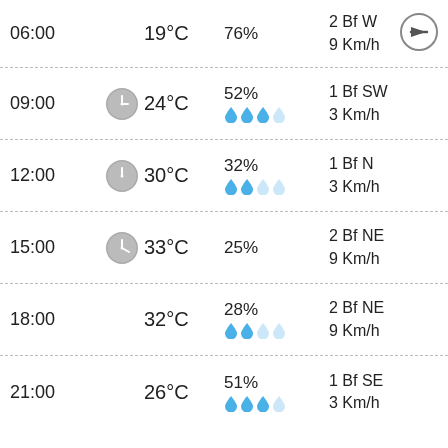| Time | Icon | Temp | Precip | Wind |
| --- | --- | --- | --- | --- |
| 06:00 |  | 19°C | 76% | 2 Bf W
9 Km/h |
| 09:00 | clock | 24°C | 52%
💧💧💧 | 1 Bf SW
3 Km/h |
| 12:00 | clock | 30°C | 32%
💧💧 | 1 Bf N
3 Km/h |
| 15:00 | clock | 33°C | 25% | 2 Bf NE
9 Km/h |
| 18:00 |  | 32°C | 28%
💧💧 | 2 Bf NE
9 Km/h |
| 21:00 |  | 26°C | 51%
💧💧💧 | 1 Bf SE
3 Km/h |